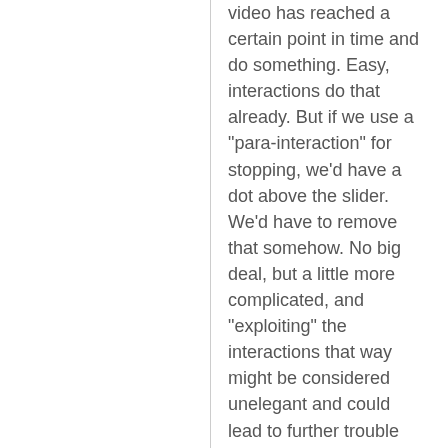video has reached a certain point in time and do something. Easy, interactions do that already. But if we use a "para-interaction" for stopping, we'd have a dot above the slider. We'd have to remove that somehow. No big deal, but a little more complicated, and "exploiting" the interactions that way might be considered unelegant and could lead to further trouble